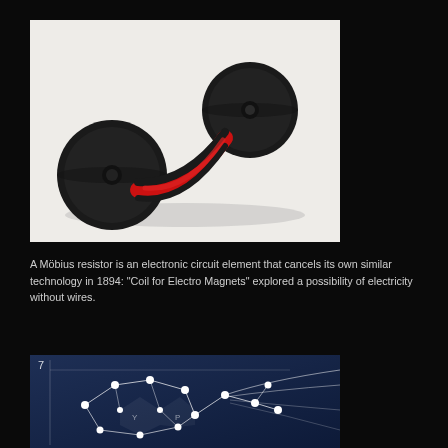[Figure (photo): Two black typewriter ribbon spools connected by a red and black ribbon, photographed against a white background.]
A Möbius resistor is an electronic circuit element that cancels its own similar technology in 1894: “Coil for Electro Magnets” explored a possibility of electricity without wires.
[Figure (network-graph): A network graph showing interconnected white nodes on a dark blue gradient background, with flowing white lines/curves and labels including Y and P. A '7' label is visible on the y-axis area.]